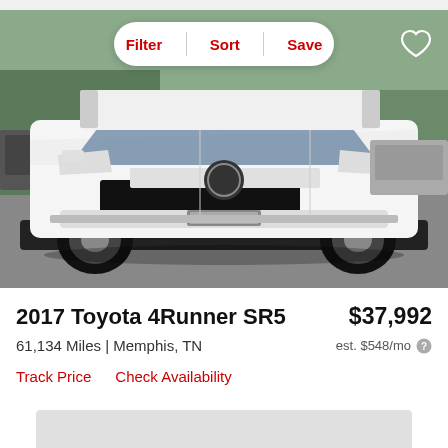[Figure (photo): Front view of a white 2017 Toyota 4Runner SR5 SUV parked on pavement, with other vehicles visible in the background. A filter/sort/save toolbar overlay appears at the top, and a heart icon for saving is in the top right corner.]
2017 Toyota 4Runner SR5
$37,992
61,134 Miles | Memphis, TN
est. $548/mo
Track Price    Check Availability